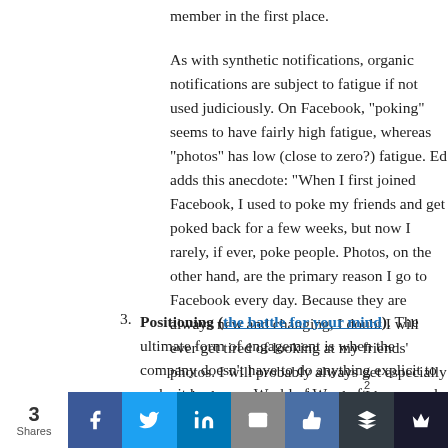member in the first place.
As with synthetic notifications, organic notifications are subject to fatigue if not used judiciously. On Facebook, "poking" seems to have fairly high fatigue, whereas "photos" has low (close to zero?) fatigue. Ed adds this anecdote: "When I first joined Facebook, I used to poke my friends and get poked back for a few weeks, but now I rarely, if ever, poke people. Photos, on the other hand, are the primary reason I go to Facebook every day. Because they are always new and changing, I doubt I will ever get tired of looking at my friends' photos. I will probably always get especially excited to see a new photo that I happen to be in."
3. Positioning (the battle for your mind). The ultimate form of engagement is when the company doesn't have to do anything explicit to make it happen… World of Warcraft never needs to send you an email reminding you to play; they don't need to prompt you to tell your guild-mates about the quest you just won. The underlying dynamics of the product, your guild, a…
3 Shares | Facebook | Twitter | LinkedIn | Email | Like | Buffer 2 | Crown